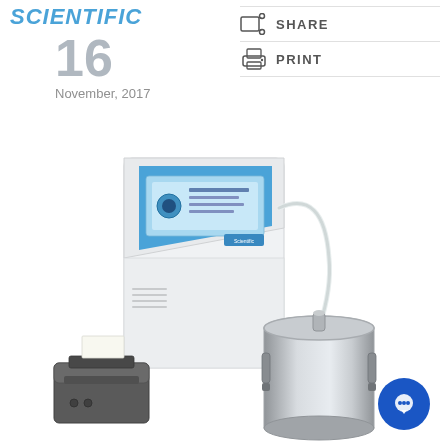Scientific
16
November, 2017
SHARE
PRINT
[Figure (photo): Laboratory instrument system showing a white benchtop analyzer unit with blue touchscreen display panel, a small thermal printer in the foreground, and a stainless steel sample canister with a tube connected to the analyzer.]